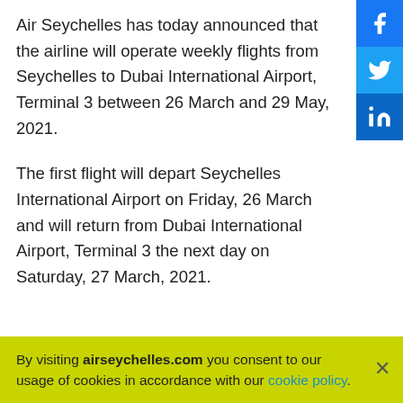Air Seychelles has today announced that the airline will operate weekly flights from Seychelles to Dubai International Airport, Terminal 3 between 26 March and 29 May, 2021.
The first flight will depart Seychelles International Airport on Friday, 26 March and will return from Dubai International Airport, Terminal 3 the next day on Saturday, 27 March, 2021.
Between 2 April and 27, May 2021, the flights have been conveniently timed to provide business including leisure travellers a full week in Dubai, with late afternoon
By visiting airseychelles.com you consent to our usage of cookies in accordance with our cookie policy.